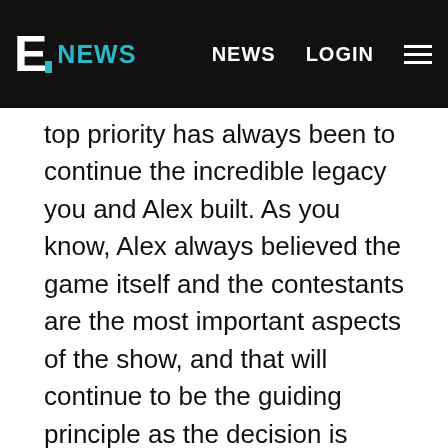E! NEWS  NEWS  LOGIN
top priority has always been to continue the incredible legacy you and Alex built. As you know, Alex always believed the game itself and the contestants are the most important aspects of the show, and that will continue to be the guiding principle as the decision is finalized."
PHOTOS
All of the Contenders Who Were in the Running to Become Jeopardy!'s New Host